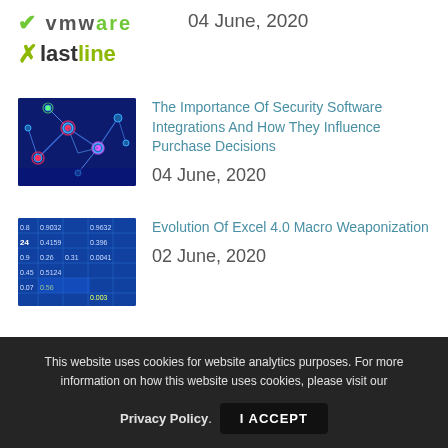[Figure (logo): VMware and Lastline logos with date 04 June, 2020]
04 June, 2020
[Figure (photo): Cybersecurity network visualization with glowing nodes on dark blue background]
The Importance Of Security Software Integrations And How They Influence Purchase Decisions
04 June, 2020
[Figure (photo): Excel spreadsheet with numerical data on blue background]
Evolution Of Excel 4.0 Macro Weaponization
02 June, 2020
This website uses cookies for website analytics purposes. For more information on how this website uses cookies, please visit our Privacy Policy. I ACCEPT